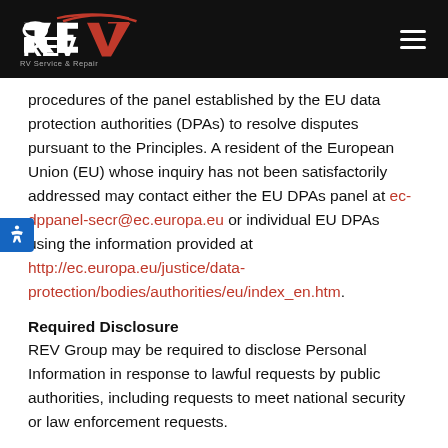REV RV Service & Repair — Navigation header with logo and hamburger menu
procedures of the panel established by the EU data protection authorities (DPAs) to resolve disputes pursuant to the Principles. A resident of the European Union (EU) whose inquiry has not been satisfactorily addressed may contact either the EU DPAs panel at ec-dppanel-secr@ec.europa.eu or individual EU DPAs using the information provided at http://ec.europa.eu/justice/data-protection/bodies/authorities/eu/index_en.htm.
Required Disclosure
REV Group may be required to disclose Personal Information in response to lawful requests by public authorities, including requests to meet national security or law enforcement requests.